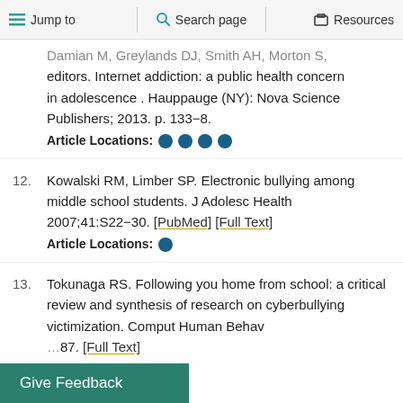Jump to | Search page | Resources
Damian M, Greylands DJ, Smith AH, Morton S, editors. Internet addiction: a public health concern in adolescence . Hauppauge (NY): Nova Science Publishers; 2013. p. 133–8.
Article Locations: ● ● ● ●
12. Kowalski RM, Limber SP. Electronic bullying among middle school students. J Adolesc Health 2007;41:S22–30. [PubMed] [Full Text]
Article Locations: ●
13. Tokunaga RS. Following you home from school: a critical review and synthesis of research on cyberbullying victimization. Comput Human Behav ...87. [Full Text]
Give Feedback